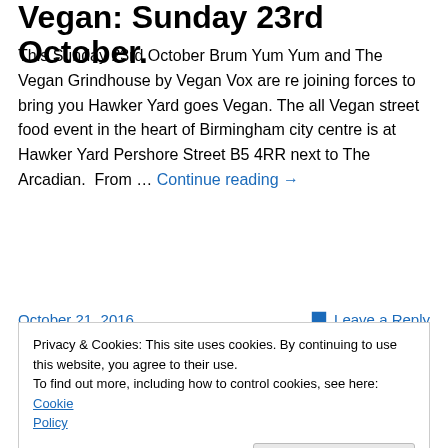Vegan: Sunday 23rd October.
This Sunday 23rd October Brum Yum Yum and The Vegan Grindhouse by Vegan Vox are re joining forces to bring you Hawker Yard goes Vegan. The all Vegan street food event in the heart of Birmingham city centre is at Hawker Yard Pershore Street B5 4RR next to The Arcadian.  From … Continue reading →
October 21, 2016
Leave a Reply
Vegan Street food event in…
eating food this way is an enlightened experience that in
Privacy & Cookies: This site uses cookies. By continuing to use this website, you agree to their use.
To find out more, including how to control cookies, see here: Cookie Policy
Close and accept